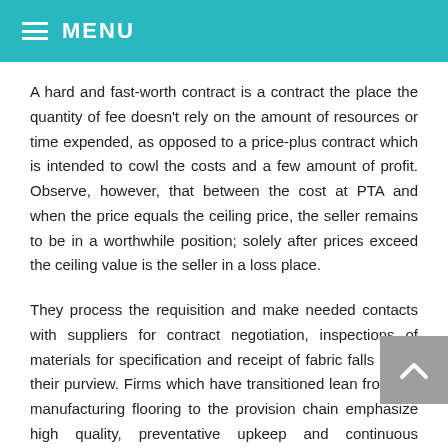MENU
A hard and fast-worth contract is a contract the place the quantity of fee doesn't rely on the amount of resources or time expended, as opposed to a price-plus contract which is intended to cowl the costs and a few amount of profit. Observe, however, that between the cost at PTA and when the price equals the ceiling price, the seller remains to be in a worthwhile position; solely after prices exceed the ceiling value is the seller in a loss place.
They process the requisition and make needed contacts with suppliers for contract negotiation, inspections of materials for specification and receipt of fabric falls within their purview. Firms which have transitioned lean from the manufacturing flooring to the provision chain emphasize high quality, preventative upkeep and continuous enchancment.